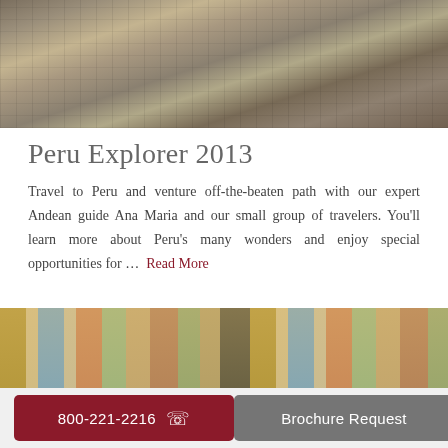[Figure (photo): Aerial/overview photo of Machu Picchu ruins — stone terraced structures on a mountain]
Peru Explorer 2013
Travel to Peru and venture off-the-beaten path with our expert Andean guide Ana Maria and our small group of travelers. You'll learn more about Peru's many wonders and enjoy special opportunities for ...  Read More
[Figure (photo): Colorful street scene — woman with basket on head, bright painted colonial buildings with shutters]
Treasures of Colombia 2013
800-221-2216
Brochure Request